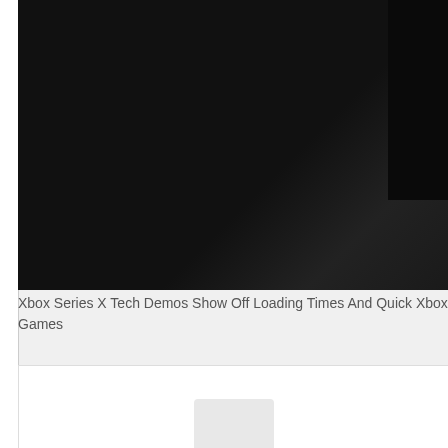[Figure (photo): Dark/black background photo, appears to be Xbox Series X console in dark studio setting, cropped showing mostly dark background with subtle corner shadow]
Xbox Series X Tech Demos Show Off Loading Times And Quick Xbox Games
[Figure (photo): White background photo showing what appears to be Xbox Series X console hardware, partially visible at bottom of frame]